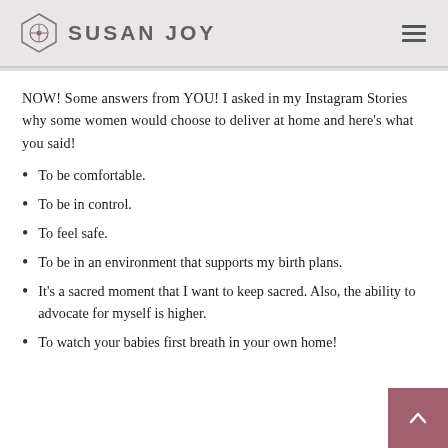SUSAN JOY
NOW! Some answers from YOU! I asked in my Instagram Stories why some women would choose to deliver at home and here's what you said!
To be comfortable.
To be in control.
To feel safe.
To be in an environment that supports my birth plans.
It's a sacred moment that I want to keep sacred. Also, the ability to advocate for myself is higher.
To watch your babies first breath in your own home!